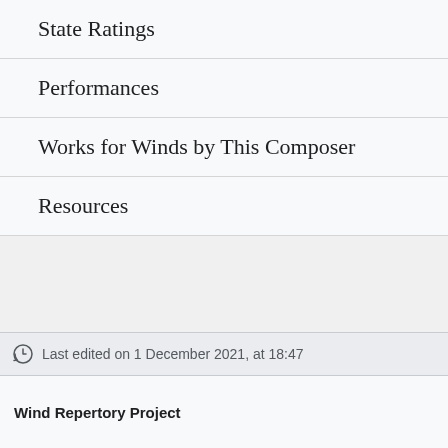State Ratings
Performances
Works for Winds by This Composer
Resources
Last edited on 1 December 2021, at 18:47
Wind Repertory Project